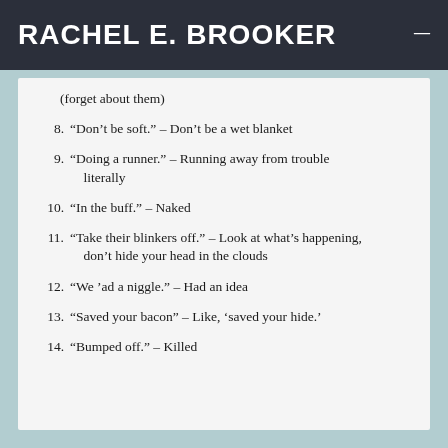RACHEL E. BROOKER
(forget about them)
8. “Don't be soft.” – Don't be a wet blanket
9. “Doing a runner.” – Running away from trouble literally
10. “In the buff.” – Naked
11. “Take their blinkers off.” – Look at what's happening, don't hide your head in the clouds
12. “We 'ad a niggle.” – Had an idea
13. “Saved your bacon” – Like, 'saved your hide.'
14. “Bumped off.” – Killed